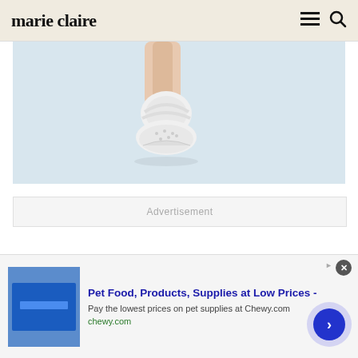marie claire
[Figure (photo): Close-up of person's legs/ankles wearing white perforated sandal shoes on a light background]
Advertisement
[Figure (infographic): Bottom advertisement banner: Pet Food, Products, Supplies at Low Prices - Pay the lowest prices on pet supplies at Chewy.com, chewy.com]